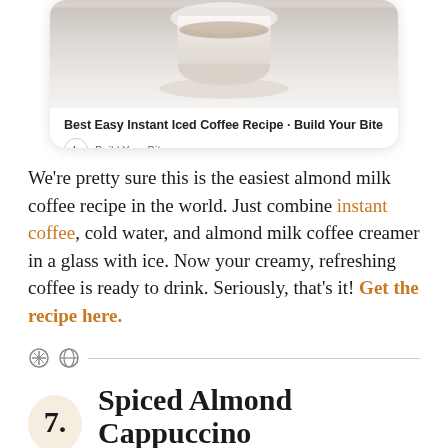[Figure (screenshot): Screenshot card showing 'Best Easy Instant Iced Coffee Recipe - Build Your Bite' with a coffee cup image and the Build Your Bite logo/source name]
We're pretty sure this is the easiest almond milk coffee recipe in the world. Just combine instant coffee, cold water, and almond milk coffee creamer in a glass with ice. Now your creamy, refreshing coffee is ready to drink. Seriously, that's it! Get the recipe here.
7. Spiced Almond Cappuccino